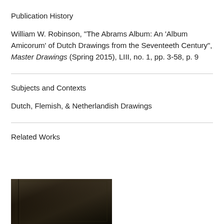Publication History
William W. Robinson, "The Abrams Album: An 'Album Amicorum' of Dutch Drawings from the Seventeeth Century", Master Drawings (Spring 2015), LIII, no. 1, pp. 3-58, p. 9
Subjects and Contexts
Dutch, Flemish, & Netherlandish Drawings
Related Works
[Figure (photo): Photograph of a dark brown/black book or album cover]